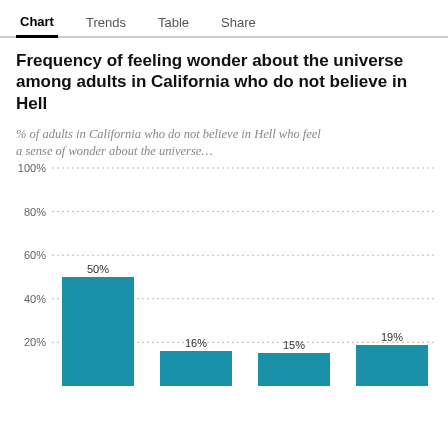Chart    Trends    Table    Share
Frequency of feeling wonder about the universe among adults in California who do not believe in Hell
% of adults in California who do not believe in Hell who feel a sense of wonder about the universe…
[Figure (bar-chart): Frequency of feeling wonder about the universe among adults in California who do not believe in Hell]